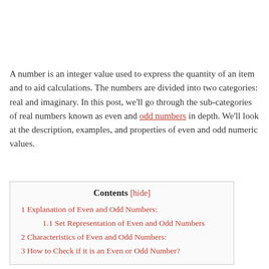A number is an integer value used to express the quantity of an item and to aid calculations. The numbers are divided into two categories: real and imaginary. In this post, we'll go through the sub-categories of real numbers known as even and odd numbers in depth. We'll look at the description, examples, and properties of even and odd numeric values.
| Contents |
| --- |
| 1 Explanation of Even and Odd Numbers: |
| 1.1 Set Representation of Even and Odd Numbers |
| 2 Characteristics of Even and Odd Numbers: |
| 3 How to Check if it is an Even or Odd Number? |